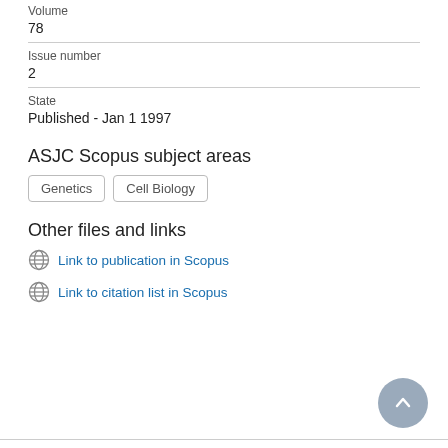Volume
78
Issue number
2
State
Published - Jan 1 1997
ASJC Scopus subject areas
Genetics
Cell Biology
Other files and links
Link to publication in Scopus
Link to citation list in Scopus